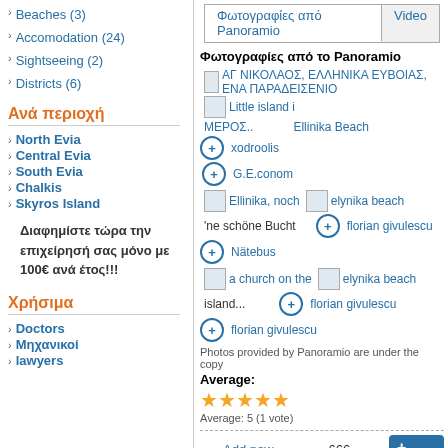Beaches (3)
Accomodation (24)
Sightseeing (2)
Districts (6)
Ανά περιοχή
North Evia
Central Evia
South Evia
Chalkis
Skyros Island
Διαφημίστε τώρα την επιχείρησή σας μόνο με 100€ ανά έτος!!!
Χρήσιμα
Doctors
Μηχανικοί
lawyers
Φωτογραφίες από Panoramio | Video
Φωτογραφίες από το Panoramio
ΑΓ ΝΙΚΟΛΑΟΣ, ΕΛΛΗΝΙΚΑ ΕΥΒΟΙΑΣ, ΕΝΑ ΠΑΡΑΔΕΙΣΕΝΙΟ ΜΕΡΟΣ..   xodroolis
G.E.conom
Ellinika, noch 'ne schöne Bucht   elynika beach   florian givulescu
Nätebus
a church on the island...   elynika beach   florian givulescu
florian givulescu
Photos provided by Panoramio are under the copy
Average:
★★★★★
Average: 5 (1 vote)
Add new comment   666 reads   Sha